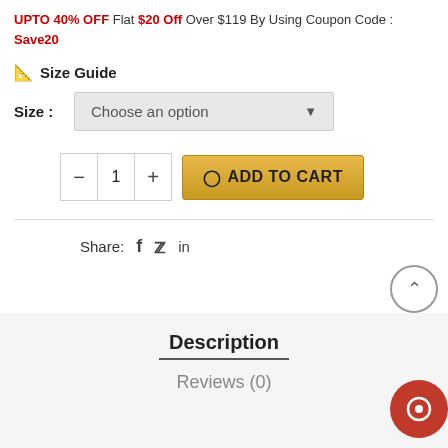UPTO 40% OFF Flat $20 Off Over $119 By Using Coupon Code : Save20
Size Guide
Size: Choose an option
[Figure (screenshot): Quantity selector with minus, 1, plus buttons and ADD TO CART button in gold color]
Share: f in
Description
Reviews (0)